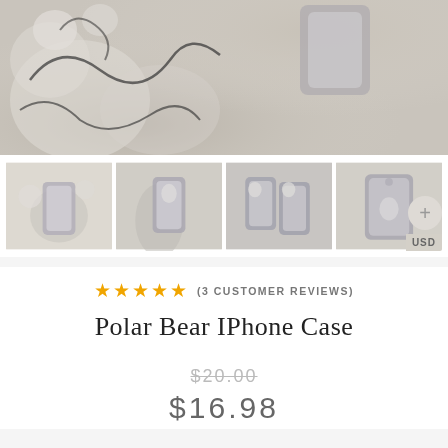[Figure (photo): Main product photo showing a phone case with polar bear design on a fluffy white bear plush background, with a phone/tin visible]
[Figure (photo): Four thumbnail product images of the Polar Bear iPhone Case shown from different angles and settings]
USD
★★★★★ (3 CUSTOMER REVIEWS)
Polar Bear IPhone Case
$20.00 (strikethrough original price)
$16.98